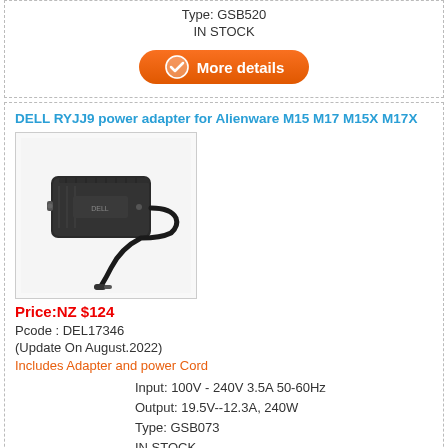Type: GSB520
IN STOCK
[Figure (other): Orange 'More details' button with checkmark icon]
DELL RYJJ9 power adapter for Alienware M15 M17 M15X M17X
[Figure (photo): Photo of a Dell power adapter/charger brick with cable and barrel connector tip]
Price:NZ $124
Pcode : DEL17346
(Update On August.2022)
Includes Adapter and power Cord
Input: 100V - 240V 3.5A 50-60Hz
Output: 19.5V--12.3A, 240W
Type: GSB073
IN STOCK
[Figure (other): Orange 'More details' button with checkmark icon]